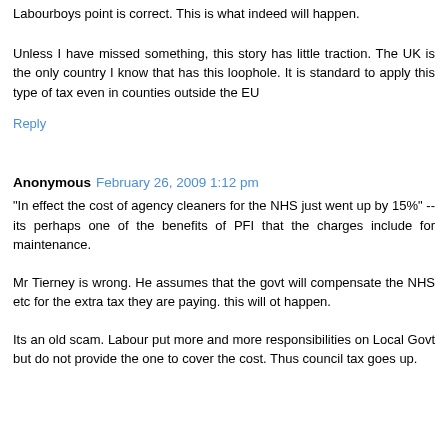Labourboys point is correct. This is what indeed will happen.
Unless I have missed something, this story has little traction. The UK is the only country I know that has this loophole. It is standard to apply this type of tax even in counties outside the EU
Reply
Anonymous February 26, 2009 1:12 pm
"In effect the cost of agency cleaners for the NHS just went up by 15%" -- its perhaps one of the benefits of PFI that the charges include for maintenance.
Mr Tierney is wrong. He assumes that the govt will compensate the NHS etc for the extra tax they are paying. this will ot happen.
Its an old scam. Labour put more and more responsibilities on Local Govt but do not provide the one to cover the cost. Thus council tax goes up.